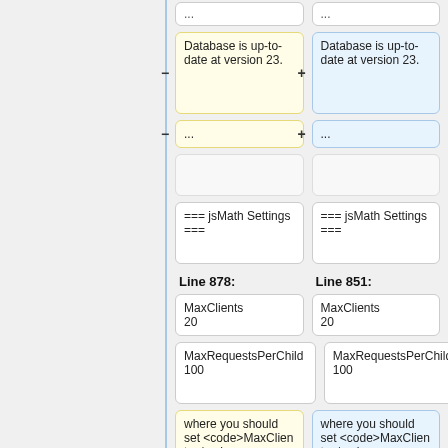...
Database is up-to-date at version 23. (left, removed)
Database is up-to-date at version 23. (right, added)
... (left)
... (right)
=== jsMath Settings ===
=== jsMath Settings ===
Line 878:
Line 851:
MaxClients
20
MaxClients
20
MaxRequestsPerChild  100
MaxRequestsPerChild  100
where you should set <code>MaxClients</code>
where you should set <code>MaxClients</code>